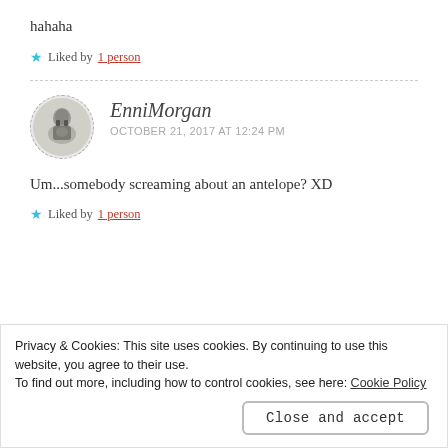hahaha
★ Liked by 1 person
EnniMorgan
OCTOBER 21, 2017 AT 12:24 PM
Um...somebody screaming about an antelope? XD
★ Liked by 1 person
Privacy & Cookies: This site uses cookies. By continuing to use this website, you agree to their use.
To find out more, including how to control cookies, see here: Cookie Policy
Close and accept